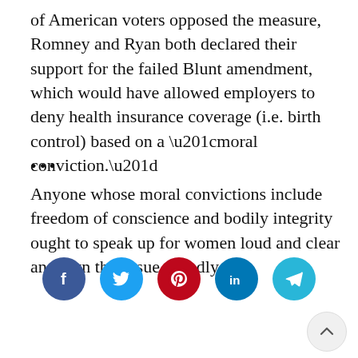of American voters opposed the measure, Romney and Ryan both declared their support for the failed Blunt amendment, which would have allowed employers to deny health insurance coverage (i.e. birth control) based on a “moral conviction.”
•••
Anyone whose moral convictions include freedom of conscience and bodily integrity ought to speak up for women loud and clear and own this issue proudly.
[Figure (infographic): Row of five social media share buttons: Facebook (dark blue), Twitter (cyan), Pinterest (red), LinkedIn (dark blue), Telegram (light blue)]
[Figure (other): Back to top button with upward chevron arrow]